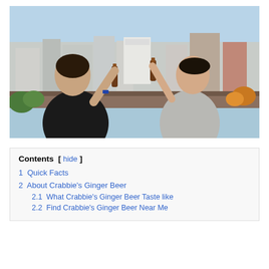[Figure (photo): Two young men on a rooftop clinking beer bottles, with a city skyline in the background. One wears a black shirt, the other a gray t-shirt.]
Contents [ hide ]
1 Quick Facts
2 About Crabbie's Ginger Beer
2.1 What Crabbie's Ginger Beer Taste like
2.2 Find Crabbie's Ginger Beer Near Me